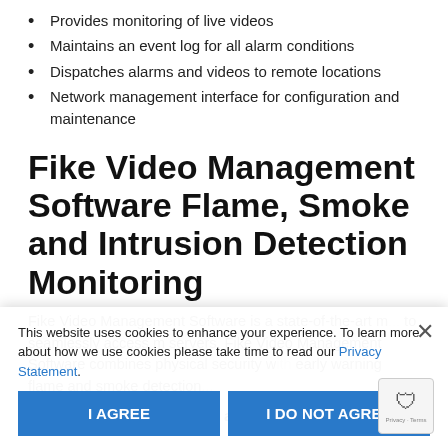Provides monitoring of live videos
Maintains an event log for all alarm conditions
Dispatches alarms and videos to remote locations
Network management interface for configuration and maintenance
Fike Video Management Software Flame, Smoke and Intrusion Detection Monitoring
Fike Video Management Software is a state-of-the-art m... to seamlessly access multiple servers. Fike Video Management Software combines physical security with early warning flame and smoke detection...
Access multiple FSM-IP at a time
This website uses cookies to enhance your experience. To learn more about how we use cookies please take time to read our Privacy Statement.